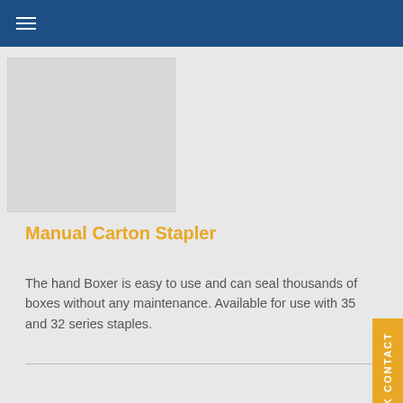[Figure (photo): Product image area for Manual Carton Stapler (hand Boxer), shown as a light gray placeholder rectangle]
Manual Carton Stapler
The hand Boxer is easy to use and can seal thousands of boxes without any maintenance. Available for use with 35 and 32 series staples.